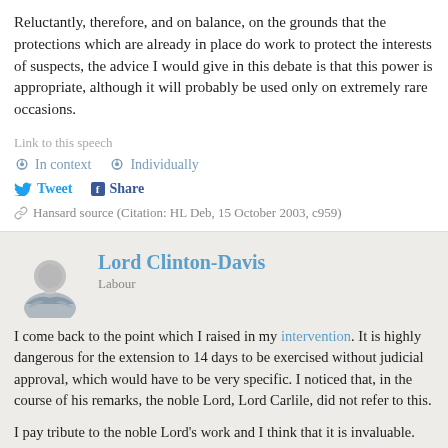Reluctantly, therefore, and on balance, on the grounds that the protections which are already in place do work to protect the interests of suspects, the advice I would give in this debate is that this power is appropriate, although it will probably be used only on extremely rare occasions.
Link to this speech
In context  Individually
Tweet  Share
Hansard source (Citation: HL Deb, 15 October 2003, c959)
Lord Clinton-Davis
Labour
I come back to the point which I raised in my intervention. It is highly dangerous for the extension to 14 days to be exercised without judicial approval, which would have to be very specific. I noticed that, in the course of his remarks, the noble Lord, Lord Carlile, did not refer to this.
I pay tribute to the noble Lord's work and I think that it is invaluable.